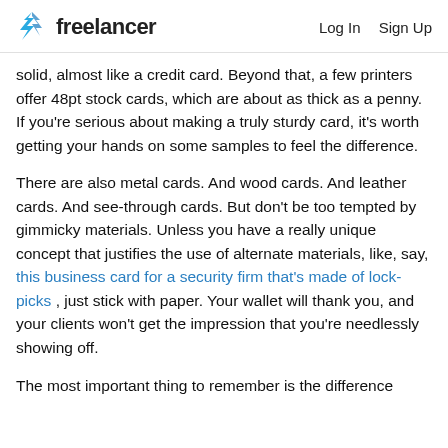freelancer | Log In  Sign Up
solid, almost like a credit card. Beyond that, a few printers offer 48pt stock cards, which are about as thick as a penny. If you're serious about making a truly sturdy card, it's worth getting your hands on some samples to feel the difference.
There are also metal cards. And wood cards. And leather cards. And see-through cards. But don't be too tempted by gimmicky materials. Unless you have a really unique concept that justifies the use of alternate materials, like, say, this business card for a security firm that's made of lock-picks , just stick with paper. Your wallet will thank you, and your clients won't get the impression that you're needlessly showing off.
The most important thing to remember is the difference